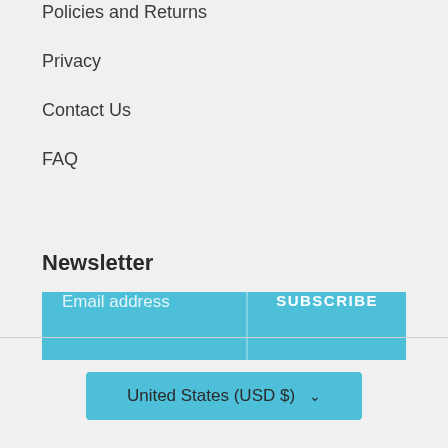Policies and Returns
Privacy
Contact Us
FAQ
Newsletter
Email address
SUBSCRIBE
United States (USD $)